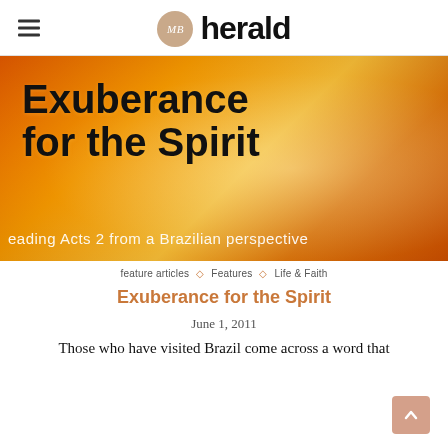MB herald
[Figure (illustration): Hero image with warm orange/gold floral background. Large bold text reads 'Exuberance for the Spirit'. Subtitle text at bottom reads 'reading Acts 2 from a Brazilian perspective'.]
feature articles ◇ Features ◇ Life & Faith
Exuberance for the Spirit
June 1, 2011
Those who have visited Brazil come across a word that